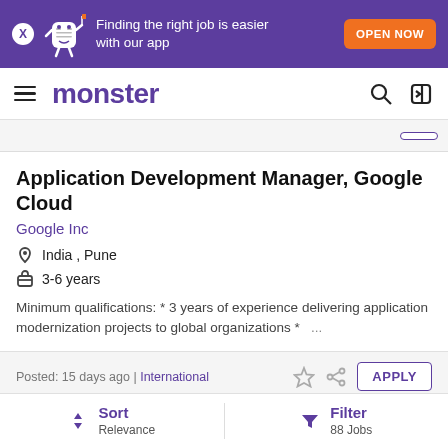[Figure (screenshot): Monster job listing app banner: purple background with mascot, text 'Finding the right job is easier with our app', orange OPEN NOW button]
monster
Application Development Manager, Google Cloud
Google Inc
India , Pune
3-6 years
Minimum qualifications: * 3 years of experience delivering application modernization projects to global organizations * ...
Posted: 15 days ago |  International
Sort Relevance | Filter 88 Jobs